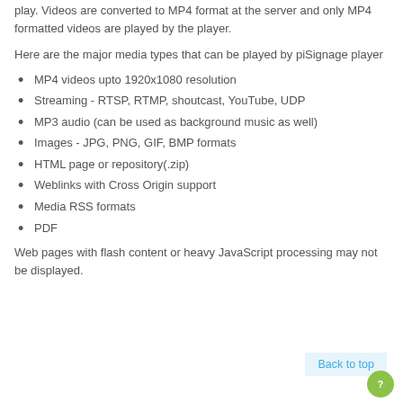play. Videos are converted to MP4 format at the server and only MP4 formatted videos are played by the player.
Here are the major media types that can be played by piSignage player
MP4 videos upto 1920x1080 resolution
Streaming - RTSP, RTMP, shoutcast, YouTube, UDP
MP3 audio (can be used as background music as well)
Images - JPG, PNG, GIF, BMP formats
HTML page or repository(.zip)
Weblinks with Cross Origin support
Media RSS formats
PDF
Web pages with flash content or heavy JavaScript processing may not be displayed.